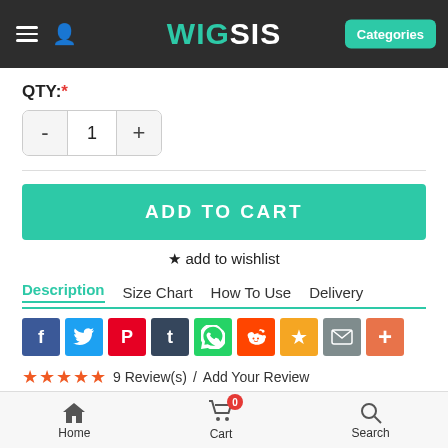WIG SIS — Categories
QTY: *
- 1 +
ADD TO CART
★ add to wishlist
Description | Size Chart | How To Use | Delivery
[Figure (infographic): Social sharing icons: Facebook, Twitter, Pinterest, Tumblr, WhatsApp, Reddit, Bookmark/Star, Email, More(+)]
★★★★★ 9 Review(s) / Add Your Review
Material: Heat Friendly Synthetic
Colour Show: 133
Cap Construction: Capless
Hair Style: Straight
Hair Length: ...
Home  Cart 0  Search